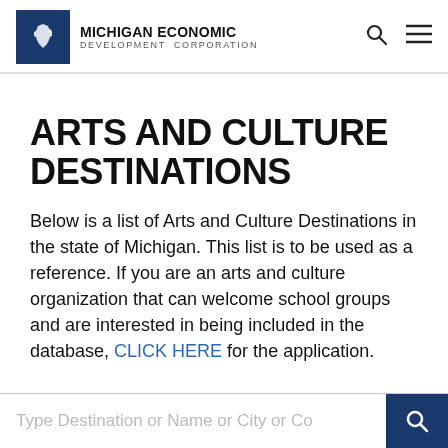MICHIGAN ECONOMIC DEVELOPMENT CORPORATION
ARTS AND CULTURE DESTINATIONS
Below is a list of Arts and Culture Destinations in the state of Michigan. This list is to be used as a reference. If you are an arts and culture organization that can welcome school groups and are interested in being included in the database, CLICK HERE for the application.